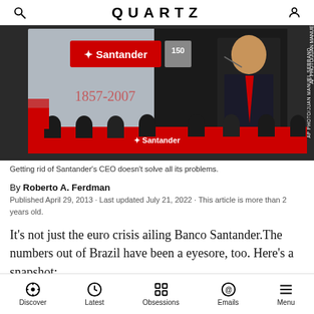QUARTZ
[Figure (photo): Santander board meeting with executives seated at a long red table. A large screen shows a speaker in a dark suit with a red tie. The Santander logo and '1857-2007' anniversary text are visible. AP PHOTO/JUAN MANUEL SERRANO credit on the right side.]
Getting rid of Santander's CEO doesn't solve all its problems.
By Roberto A. Ferdman
Published April 29, 2013 · Last updated July 21, 2022 · This article is more than 2 years old.
It's not just the euro crisis ailing Banco Santander.The numbers out of Brazil have been a eyesore, too. Here's a snapshot:
Discover  Latest  Obsessions  Emails  Menu